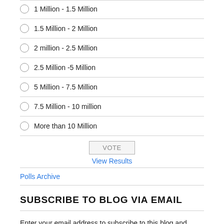1 Million - 1.5 Million
1.5 Million - 2 Million
2 million - 2.5 Million
2.5 Million -5 Million
5 Million - 7.5 Million
7.5 Million - 10 million
More than 10 Million
VOTE
View Results
Polls Archive
SUBSCRIBE TO BLOG VIA EMAIL
Enter your email address to subscribe to this blog and receive notifications of new posts by email.